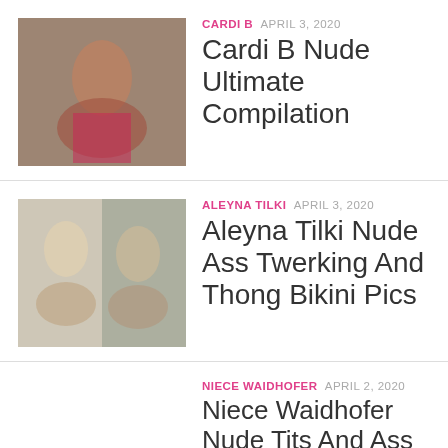[Figure (photo): Thumbnail image for Cardi B article]
CARDI B  APRIL 3, 2020
Cardi B Nude Ultimate Compilation
[Figure (photo): Thumbnail image for Aleyna Tilki article]
ALEYNA TILKI  APRIL 3, 2020
Aleyna Tilki Nude Ass Twerking And Thong Bikini Pics
[Figure (photo): Broken thumbnail image for Niece Waidhofer article]
NIECE WAIDHOFER  APRIL 2, 2020
Niece Waidhofer Nude Tits And Ass Compilation